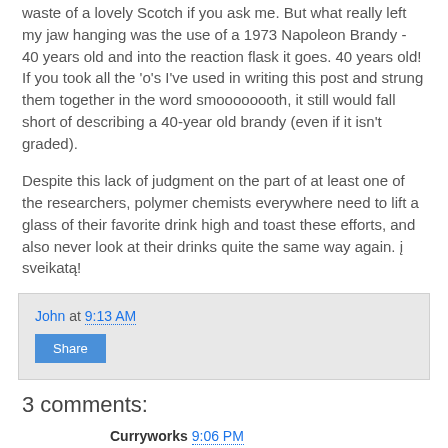waste of a lovely Scotch if you ask me. But what really left my jaw hanging was the use of a 1973 Napoleon Brandy - 40 years old and into the reaction flask it goes. 40 years old! If you took all the 'o's I've used in writing this post and strung them together in the word smoooooooth, it still would fall short of describing a 40-year old brandy (even if it isn't graded).
Despite this lack of judgment on the part of at least one of the researchers, polymer chemists everywhere need to lift a glass of their favorite drink high and toast these efforts, and also never look at their drinks quite the same way again. į sveikatą!
John at 9:13 AM
Share
3 comments:
Curryworks 9:06 PM